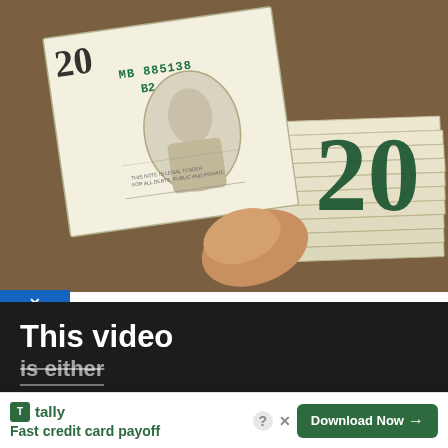[Figure (photo): Close-up photo of a hand holding a fan of US $20 dollar bills. The front bill shows serial number MB 8851385 B2. The number '20' is visible in large green text on the right side.]
× (blue close button)
ebt May Get Massive
ty)
[Figure (screenshot): Black modal overlay dialog showing 'This video' text, 'is either' struck-through text, a large X icon, and an OK button. A circular close button (×) appears top-right of the modal.]
Pass
1  Rugby fans warned about
'return of the conmen'
2  ×
[Figure (screenshot): Tally app advertisement banner at bottom. Shows Tally logo, text 'Fast credit card payoff', a ? and × icon, and a 'Download Now →' green button.]